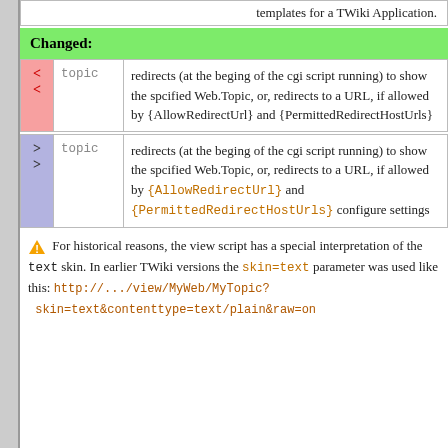templates for a TWiki Application.
Changed:
| < | topic | description-old |
| --- | --- | --- |
| < | topic | redirects (at the beging of the cgi script running) to show the spcified Web.Topic, or, redirects to a URL, if allowed by {AllowRedirectUrl} and {PermittedRedirectHostUrls} |
| > | topic | description-new |
| --- | --- | --- |
| > | topic | redirects (at the beging of the cgi script running) to show the spcified Web.Topic, or, redirects to a URL, if allowed by {AllowRedirectUrl} and {PermittedRedirectHostUrls} configure settings |
⚠ For historical reasons, the view script has a special interpretation of the text skin. In earlier TWiki versions the skin=text parameter was used like this: http://.../view/MyWeb/MyTopic?skin=text&contenttype=text/plain&raw=on